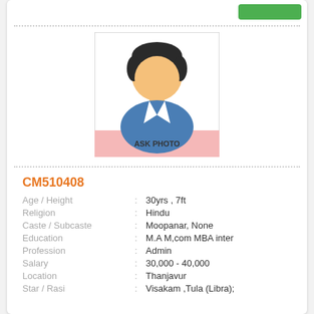[Figure (illustration): Default male avatar placeholder with text ASK PHOTO at bottom]
CM510408
Age / Height : 30yrs , 7ft
Religion : Hindu
Caste / Subcaste : Moopanar, None
Education : M.A M,com MBA inter
Profession : Admin
Salary : 30,000 - 40,000
Location : Thanjavur
Star / Rasi : Visakam ,Tula (Libra);